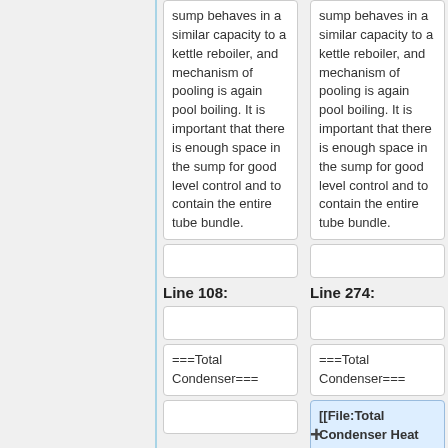sump behaves in a similar capacity to a kettle reboiler, and mechanism of pooling is again pool boiling. It is important that there is enough space in the sump for good level control and to contain the entire tube bundle.
sump behaves in a similar capacity to a kettle reboiler, and mechanism of pooling is again pool boiling. It is important that there is enough space in the sump for good level control and to contain the entire tube bundle.
Line 108:
Line 274:
===Total Condenser===
===Total Condenser===
[[File:Total Condenser Heat